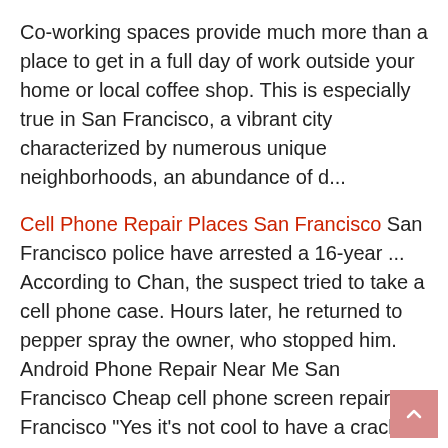Co-working spaces provide much more than a place to get in a full day of work outside your home or local coffee shop. This is especially true in San Francisco, a vibrant city characterized by numerous unique neighborhoods, an abundance of d...
Cell Phone Repair Places San Francisco San Francisco police have arrested a 16-year ... According to Chan, the suspect tried to take a cell phone case. Hours later, he returned to pepper spray the owner, who stopped him. Android Phone Repair Near Me San Francisco Cheap cell phone screen repair san Francisco "Yes it's not cool to have a cracked screen,"
By Alana Bleimann, Mia Machado, Savannah Dewberry, Priana Aquino SAN FRANCISCO